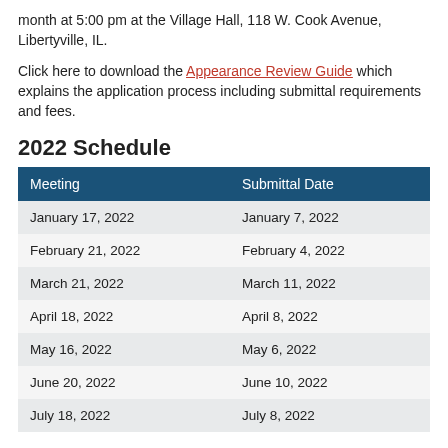month at 5:00 pm at the Village Hall, 118 W. Cook Avenue, Libertyville, IL.
Click here to download the Appearance Review Guide which explains the application process including submittal requirements and fees.
2022 Schedule
| Meeting | Submittal Date |
| --- | --- |
| January 17, 2022 | January 7, 2022 |
| February 21, 2022 | February 4, 2022 |
| March 21, 2022 | March 11, 2022 |
| April 18, 2022 | April 8, 2022 |
| May 16, 2022 | May 6, 2022 |
| June 20, 2022 | June 10, 2022 |
| July 18, 2022 | July 8, 2022 |